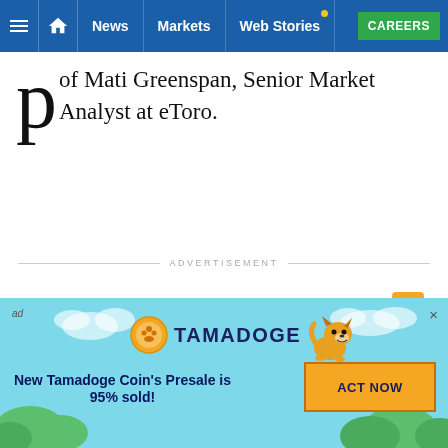News | Markets | Web Stories | CAREERS
of Mati Greenspan, Senior Market Analyst at eToro.
ADVERTISEMENT
[Figure (illustration): Small orange pixel-art icon with angry face]
[Figure (illustration): Tamadoge advertisement banner with light blue sky background, Tamadoge logo, shiba inu dog illustration, headline 'New Tamadoge Coin's Presale is 95% sold!' and ACT NOW button]